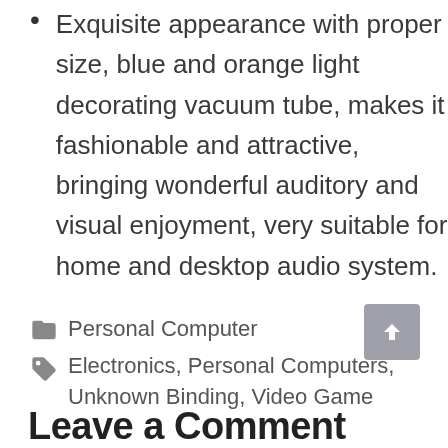Exquisite appearance with proper size, blue and orange light decorating vacuum tube, makes it fashionable and attractive, bringing wonderful auditory and visual enjoyment, very suitable for home and desktop audio system.
Personal Computer
Electronics, Personal Computers, Unknown Binding, Video Game
Leave a Comment